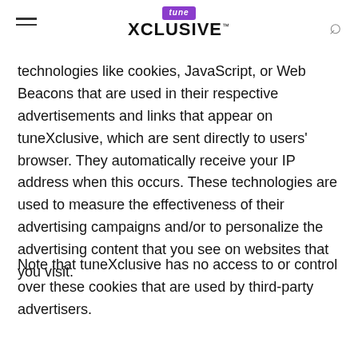tune XCLUSIVE
technologies like cookies, JavaScript, or Web Beacons that are used in their respective advertisements and links that appear on tuneXclusive, which are sent directly to users' browser. They automatically receive your IP address when this occurs. These technologies are used to measure the effectiveness of their advertising campaigns and/or to personalize the advertising content that you see on websites that you visit.
Note that tuneXclusive has no access to or control over these cookies that are used by third-party advertisers.